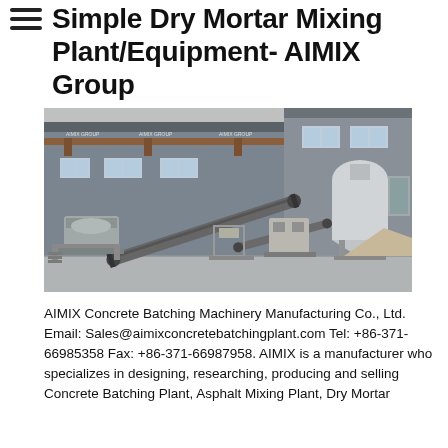Simple Dry Mortar Mixing Plant/Equipment- AIMIX Group
[Figure (photo): 3D rendering of a Simple Dry Mortar Mixing Plant inside an industrial building, showing conveyor belts, mixing equipment, silos, and storage areas with a grey corrugated metal building structure.]
AIMIX Concrete Batching Machinery Manufacturing Co., Ltd. Email: Sales@aimixconcretebatchingplant.com Tel: +86-371-66985358 Fax: +86-371-66987958. AIMIX is a manufacturer who specializes in designing, researching, producing and selling Concrete Batching Plant, Asphalt Mixing Plant, Dry Mortar